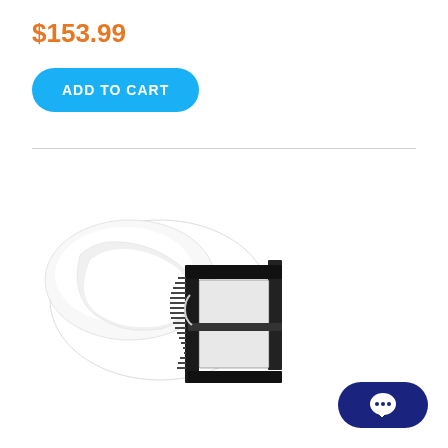$153.99
ADD TO CART
[Figure (photo): A vacuum filter bag with a black rectangular frame/housing, shown at an angle on a white background.]
[Figure (illustration): Dark navy blue chat/message button icon in the bottom right corner.]